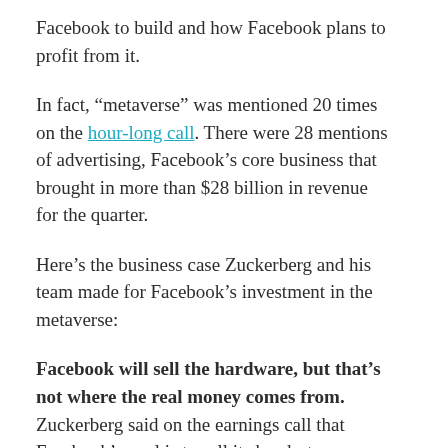Facebook to build and how Facebook plans to profit from it.
In fact, “metaverse” was mentioned 20 times on the hour-long call. There were 28 mentions of advertising, Facebook’s core business that brought in more than $28 billion in revenue for the quarter.
Here’s the business case Zuckerberg and his team made for Facebook’s investment in the metaverse:
Facebook will sell the hardware, but that’s not where the real money comes from. Zuckerberg said on the earnings call that Facebook’s goal is to sell its headsets as cheaply as possible and focus on making money through commerce and advertising within the metaverse itself.